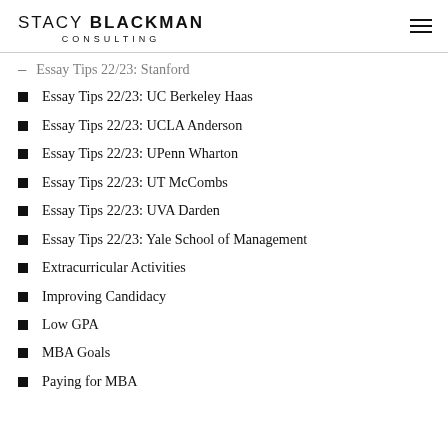STACY BLACKMAN CONSULTING
Essay Tips 22/23: Stanford
Essay Tips 22/23: UC Berkeley Haas
Essay Tips 22/23: UCLA Anderson
Essay Tips 22/23: UPenn Wharton
Essay Tips 22/23: UT McCombs
Essay Tips 22/23: UVA Darden
Essay Tips 22/23: Yale School of Management
Extracurricular Activities
Improving Candidacy
Low GPA
MBA Goals
Paying for MBA